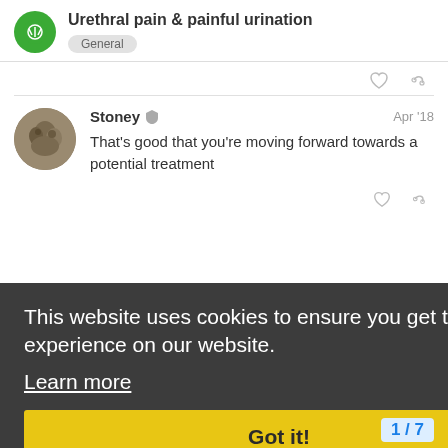Urethral pain & painful urination — General
That's good that you're moving forward towards a potential treatment
Stoney — Apr '18
2 MONTHS LATER
This website uses cookies to ensure you get the best experience on our website. Learn more
Got it!
SusanS2 — Jun '18
I had similar symptoms and was on vario... have finally found that I cannot have coffe...
1/7